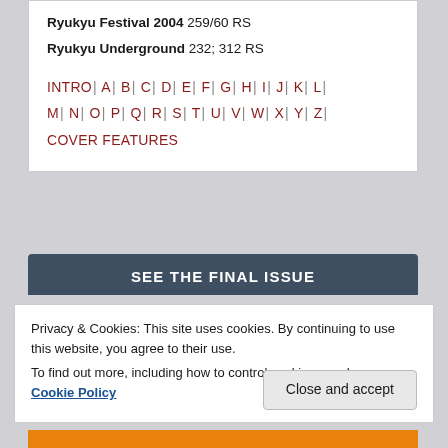Ryukyu Festival 2004 259/60 RS
Ryukyu Underground 232; 312 RS
INTRO | A | B | C | D | E | F | G | H | I | J | K | L | M | N | O | P | Q | R | S | T | U | V | W | X | Y | Z | COVER FEATURES
SEE THE FINAL ISSUE
Privacy & Cookies: This site uses cookies. By continuing to use this website, you agree to their use.
To find out more, including how to control cookies, see here: Cookie Policy
Close and accept